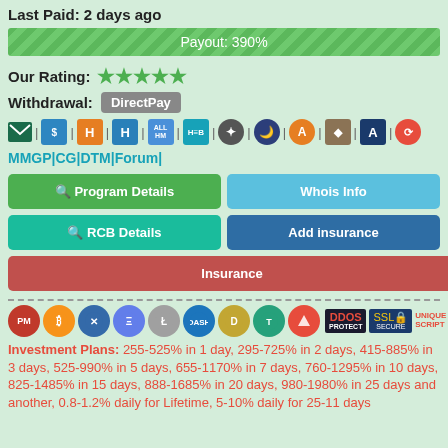Last Paid: 2 days ago
Payout: 390%
Our Rating: ★★★★★
Withdrawal: DirectPay
[Figure (other): Row of payment/monitor icons with separators]
MMGP|CG|DTM|Forum|
Program Details
Whois Info
RCB Details
Add insurance
Insurance
[Figure (other): Row of cryptocurrency logos: PM, Bitcoin, Ripple, Ethereum, Litecoin, Dash, Dogecoin, Tether, Tron, plus DDOS PROTECT, SSL SECURE, UNIQUE SCRIPT badges]
Investment Plans: 255-525% in 1 day, 295-725% in 2 days, 415-885% in 3 days, 525-990% in 5 days, 655-1170% in 7 days, 760-1295% in 10 days, 825-1485% in 15 days, 888-1685% in 20 days, 980-1980% in 25 days and another, 0.8-1.2% daily for Lifetime, 5-10% daily for 25-11 days